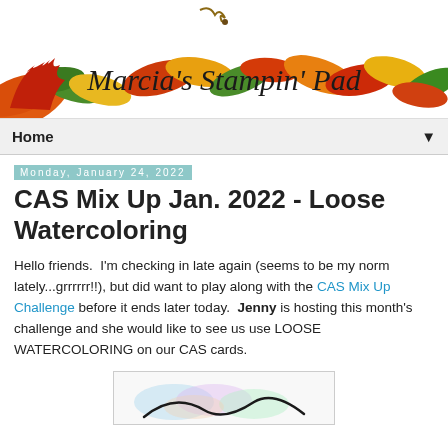[Figure (illustration): Blog header banner with autumn leaves illustration and script text reading Marcia's Stampin' Pad]
Home ▼
Monday, January 24, 2022
CAS Mix Up Jan. 2022 - Loose Watercoloring
Hello friends.  I'm checking in late again (seems to be my norm lately...grrrrrr!!), but did want to play along with the CAS Mix Up Challenge before it ends later today.  Jenny is hosting this month's challenge and she would like to see us use LOOSE WATERCOLORING on our CAS cards.
[Figure (photo): Partial view of a watercolored card at the bottom of the page]